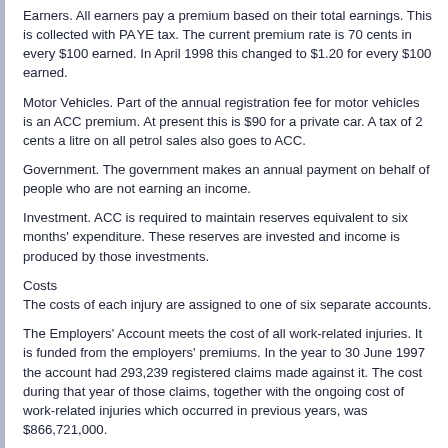Earners. All earners pay a premium based on their total earnings. This is collected with PAYE tax. The current premium rate is 70 cents in every $100 earned. In April 1998 this changed to $1.20 for every $100 earned.
Motor Vehicles. Part of the annual registration fee for motor vehicles is an ACC premium. At present this is $90 for a private car. A tax of 2 cents a litre on all petrol sales also goes to ACC.
Government. The government makes an annual payment on behalf of people who are not earning an income.
Investment. ACC is required to maintain reserves equivalent to six months' expenditure. These reserves are invested and income is produced by those investments.
Costs
The costs of each injury are assigned to one of six separate accounts.
The Employers' Account meets the cost of all work-related injuries. It is funded from the employers' premiums. In the year to 30 June 1997 the account had 293,239 registered claims made against it. The cost during that year of those claims, together with the ongoing cost of work-related injuries which occurred in previous years, was $866,721,000.